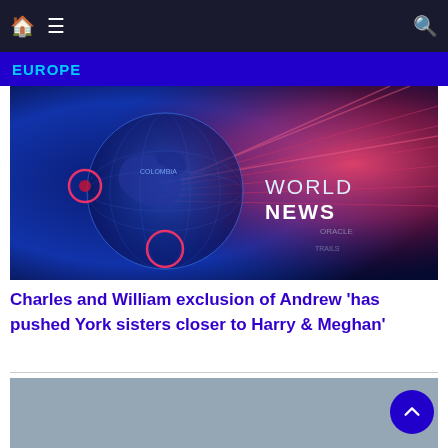EUROPE
[Figure (illustration): World News themed image with globe, blue and red digital light rays, and 'WORLD NEWS' text overlay]
Charles and William exclusion of Andrew 'has pushed York sisters closer to Harry & Meghan'
[Figure (photo): Partially visible grey-blue image at bottom of page]